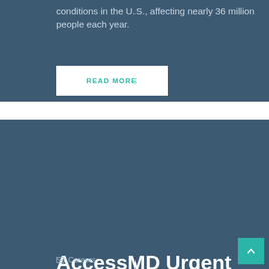conditions in the U.S., affecting nearly 36 million people each year.
READ MORE
AccessMD Urgent Care Teams with United Allergy Services to Expand Allergy Care Offerings
Careers